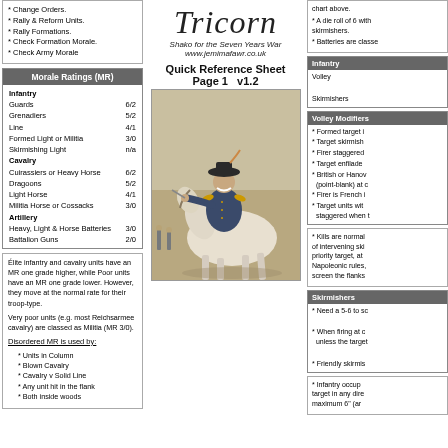* Change Orders.
* Rally & Reform Units.
* Rally Formations.
* Check Formation Morale.
* Check Army Morale
| Morale Ratings (MR) |  |
| --- | --- |
| Infantry |  |
| Guards | 6/2 |
| Grenadiers | 5/2 |
| Line | 4/1 |
| Formed Light or Militia | 3/0 |
| Skirmishing Light | n/a |
| Cavalry |  |
| Cuirassiers or Heavy Horse | 6/2 |
| Dragoons | 5/2 |
| Light Horse | 4/1 |
| Militia Horse or Cossacks | 3/0 |
| Artillery |  |
| Heavy, Light & Horse Batteries | 3/0 |
| Battalion Guns | 2/0 |
Élite infantry and cavalry units have an MR one grade higher, while Poor units have an MR one grade lower. However, they move at the normal rate for their troop-type.
Very poor units (e.g. most Reichsarmee cavalry) are classed as Militia (MR 3/0).
Disordered MR is used by:
* Units in Column
* Blown Cavalry
* Cavalry v Solid Line
* Any unit hit in the flank
* Both inside woods
Tricorn
Shako for the Seven Years War
www.jemimafawr.co.uk
Quick Reference Sheet
Page 1   v1.2
[Figure (illustration): Portrait of a military officer in 18th century uniform on horseback, likely Frederick the Great.]
chart above.
* A die roll of 6 with skirmishers.
* Batteries are classe
| Infantry |  |
| --- | --- |
| Volley |  |
| Skirmishers |  |
Volley Modifiers
* Formed target i
* Target skirmish
* Firer staggered
* Target enfilade
* British or Hanov (point-blank) at c
* Firer is French i
* Target units wit staggered when t
* Kills are normal of intervening ski priority target, at Napoleonic rules, screen the flanks
Skirmishers
* Need a 5-6 to sc
* When firing at c unless the target
* Friendly skirmis
* Infantry occup target in any dire maximum 6" (ar